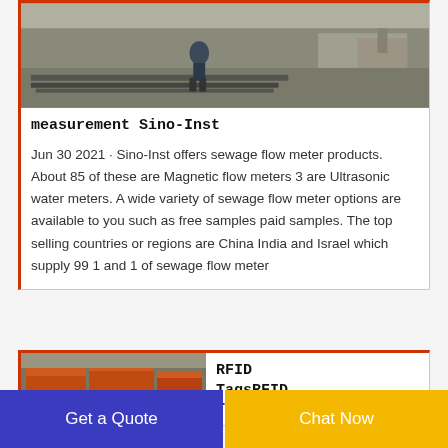[Figure (photo): Photo of a worker handling metal components or rails in an industrial/construction yard setting]
measurement Sino-Inst
Jun 30 2021 · Sino-Inst offers sewage flow meter products. About 85 of these are Magnetic flow meters 3 are Ultrasonic water meters. A wide variety of sewage flow meter options are available to you such as free samples paid samples. The top selling countries or regions are China India and Israel which supply 99 1 and 1 of sewage flow meter
[Figure (photo): Photo of industrial orange metal bins or hoppers stacked in a warehouse/industrial setting]
RFID TagsRFID Tags
Get a Quote
Chat Now